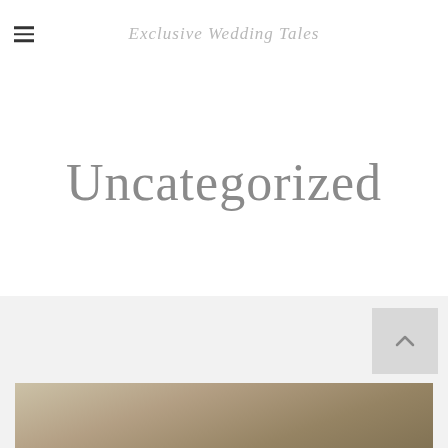Exclusive Wedding Tales
Uncategorized
[Figure (photo): Back to top button arrow on light gray background]
[Figure (photo): Partial view of a wedding or outdoor photo strip at the bottom of the page]